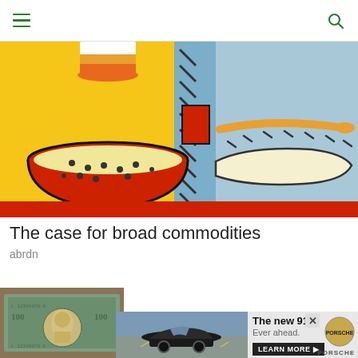Navigation bar with hamburger menu and search icon
[Figure (illustration): Pop-art style illustration of food items including a bowl of rice/grain, a glass, and a spoon, in bold colors of yellow, red, blue, orange, and cream with thick black outlines]
The case for broad commodities
abrdn
[Figure (photo): Thumbnail photo of US dollar bills (paper money with Benjamin Franklin portrait)]
Find PPP Loans That Don't Require Any Repayment
[Figure (photo): Porsche 911 car advertisement showing a dark sports car on a road with yellow chevron markings. Text: 'The new 911. Ever ahead.' with a LEARN MORE button and Porsche logo]